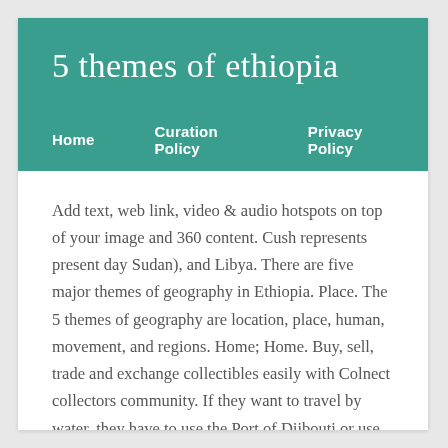5 themes of ethiopia
Home    Curation Policy    Privacy Policy
Add text, web link, video & audio hotspots on top of your image and 360 content. Cush represents present day Sudan), and Libya. There are five major themes of geography in Ethiopia. Place. The 5 themes of geography are location, place, human, movement, and regions. Home; Home. Buy, sell, trade and exchange collectibles easily with Colnect collectors community. If they want to travel by water, they have to use the Port of Djibouti or use Berbera